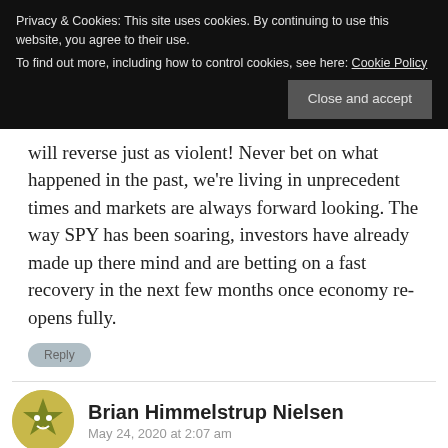Privacy & Cookies: This site uses cookies. By continuing to use this website, you agree to their use.
To find out more, including how to control cookies, see here: Cookie Policy
Close and accept
will reverse just as violent! Never bet on what happened in the past, we're living in unprecedent times and markets are always forward looking. The way SPY has been soaring, investors have already made up there mind and are betting on a fast recovery in the next few months once economy re-opens fully.
Reply
Brian Himmelstrup Nielsen
May 24, 2020 at 2:07 am
Fantastic work Mella.
I see that your target for bearmarket corresponds well with